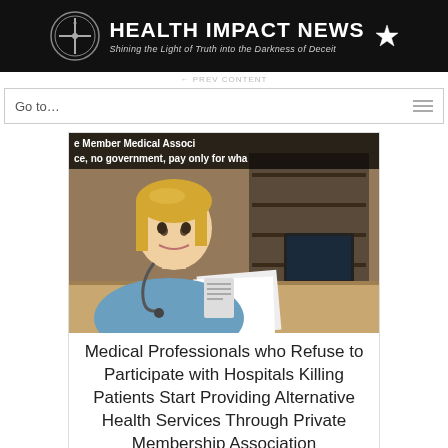HEALTH IMPACT NEWS – Shining the Light of Truth into the Darkness of Deceit
Go to...
[Figure (photo): Medical professional (female, blonde, wearing scrubs and stethoscope) sitting at a desk with shelving and a computer monitor in the background. Overlay text reads: 'e Member Medical Associ' and 'ce, no government, pay only for wha']
Medical Professionals who Refuse to Participate with Hospitals Killing Patients Start Providing Alternative Health Services Through Private Membership Association